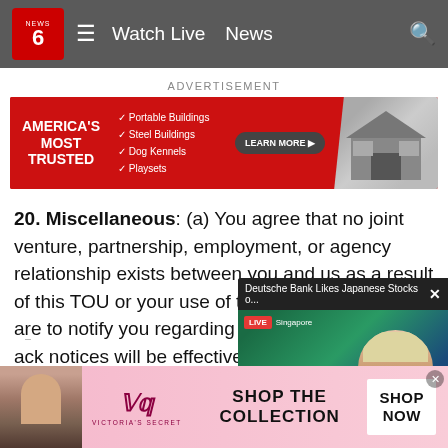NEWS 6 | Watch Live | News
ADVERTISEMENT
[Figure (infographic): Advertisement banner: AMERICA'S MOST TRUSTED with checkmarks for Portable Buildings, Steel Buildings, Dog Kennels, Playsets, LEARN MORE button, and image of a shed]
20. Miscellaneous: (a) You agree that no joint venture, partnership, employment, or agency relationship exists between you and us as a result of this TOU or your use of the Services. (b) If we a[re required] to notify you regarding [certain] events, you hereby ack[nowledge that] notices will be effective
[Figure (screenshot): Video popup overlay: Deutsche Bank Likes Japanese Stocks o... | LIVE Singapore with anchor person and mute button]
[Figure (infographic): Victoria's Secret advertisement: SHOP THE COLLECTION | SHOP NOW button with model photo]